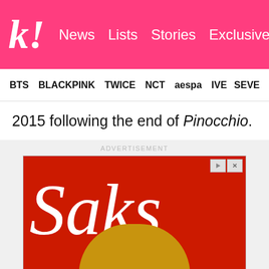k! News  Lists  Stories  Exclusives
BTS  BLACKPINK  TWICE  NCT  aespa  IVE  SEVE
2015 following the end of Pinocchio.
ADVERTISEMENT
[Figure (photo): Saks Fifth Avenue advertisement showing the Saks script logo in white on a red background with a yellow/gold leather bag at the bottom]